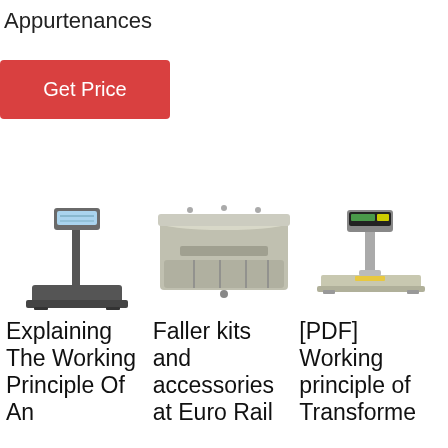Appurtenances
Get Price
[Figure (photo): Platform weighing scale with tall display pole and flat base platform]
[Figure (photo): Cash drawer / till box with compartments and pull-out drawer]
[Figure (photo): Industrial weighing scale with display head on pole and flat metallic platform]
Explaining The Working Principle Of An
Faller kits and accessories at Euro Rail
[PDF] Working principle of Transforme